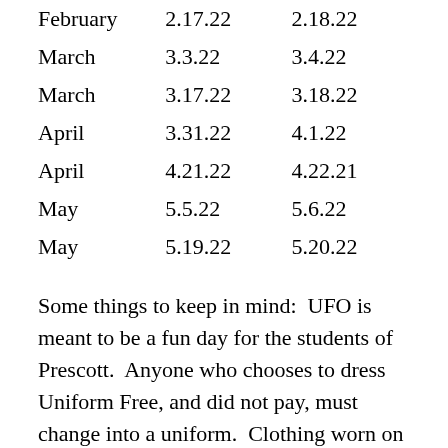| February | 2.17.22 | 2.18.22 |
| March | 3.3.22 | 3.4.22 |
| March | 3.17.22 | 3.18.22 |
| April | 3.31.22 | 4.1.22 |
| April | 4.21.22 | 4.22.21 |
| May | 5.5.22 | 5.6.22 |
| May | 5.19.22 | 5.20.22 |
Some things to keep in mind:  UFO is meant to be a fun day for the students of Prescott.  Anyone who chooses to dress Uniform Free, and did not pay, must change into a uniform.  Clothing worn on UFO Day also must be appropriate.  If you